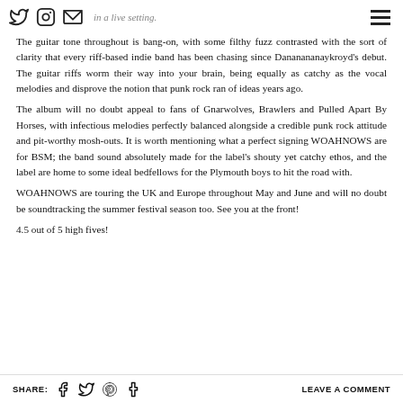will kick in a live setting. [social icons] [hamburger menu]
The guitar tone throughout is bang-on, with some filthy fuzz contrasted with the sort of clarity that every riff-based indie band has been chasing since Dananananaykroyd's debut. The guitar riffs worm their way into your brain, being equally as catchy as the vocal melodies and disprove the notion that punk rock ran of ideas years ago.
The album will no doubt appeal to fans of Gnarwolves, Brawlers and Pulled Apart By Horses, with infectious melodies perfectly balanced alongside a credible punk rock attitude and pit-worthy mosh-outs. It is worth mentioning what a perfect signing WOAHNOWS are for BSM; the band sound absolutely made for the label's shouty yet catchy ethos, and the label are home to some ideal bedfellows for the Plymouth boys to hit the road with.

WOAHNOWS are touring the UK and Europe throughout May and June and will no doubt be soundtracking the summer festival season too. See you at the front!
4.5 out of 5 high fives!
SHARE: [Facebook] [Twitter] [Pinterest] [Tumblr]    LEAVE A COMMENT